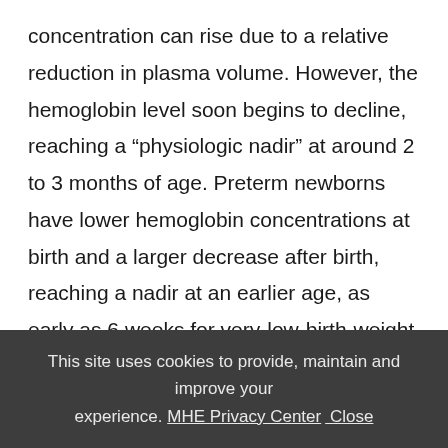concentration can rise due to a relative reduction in plasma volume. However, the hemoglobin level soon begins to decline, reaching a “physiologic nadir” at around 2 to 3 months of age. Preterm newborns have lower hemoglobin concentrations at birth and a larger decrease after birth, reaching a nadir at an earlier age, as early as 6 weeks for very-low-birth-weight infants.16 The causes of anemia in the newborn period include increased blood loss or decreased production of blood cells...
This site uses cookies to provide, maintain and improve your experience. MHE Privacy Center  Close